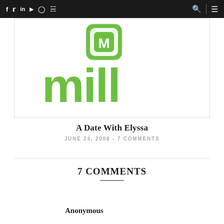f  t  in  yt  inst  rss  [search] [menu]
[Figure (logo): Green logo with letter M and small letters, rounded square icon above stylized lowercase text 'mill' in green on white background]
A Date With Elyssa
JUNE 24, 2008 - 7 COMMENTS
7 COMMENTS
Anonymous